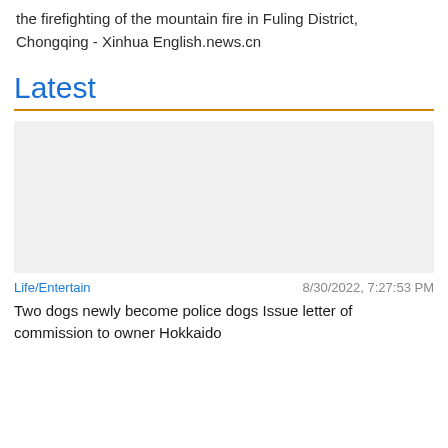the firefighting of the mountain fire in Fuling District, Chongqing - Xinhua English.news.cn
Latest
[Figure (photo): Placeholder image area with light gray background, no visible content]
Life/Entertain    8/30/2022, 7:27:53 PM
Two dogs newly become police dogs Issue letter of commission to owner Hokkaido